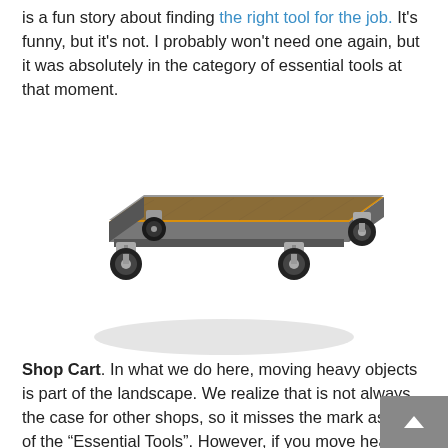is a fun story about finding the right tool for the job. It's funny, but it's not. I probably won't need one again, but it was absolutely in the category of essential tools at that moment.
[Figure (illustration): A shop floor cart (equipment dolly) shown in perspective view. It has a flat orange/amber wooden top surface with a gray metal frame, and four swivel casters (wheels) at the corners.]
Shop Cart. In what we do here, moving heavy objects is part of the landscape. We realize that is not always the case for other shops, so it misses the mark as one of the "Essential Tools". However, if you move heavy objects frequently, a good shop floor cart (aka equipment dolly, some people call it a utility cart) is a very helpful tool.